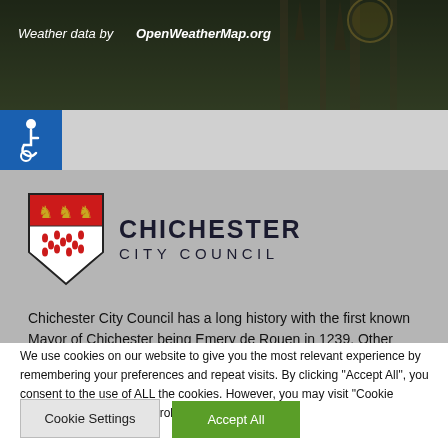[Figure (screenshot): Banner image showing Gothic cathedral architecture with dark overlay, containing weather attribution text]
Weather data by OpenWeatherMap.org
[Figure (logo): Accessibility wheelchair icon on blue square background]
[Figure (logo): Chichester City Council coat of arms shield logo with lions and red drops, alongside text CHICHESTER CITY COUNCIL]
Chichester City Council has a long history with the first known Mayor of Chichester being Emery de Rouen in 1239. Other than a
We use cookies on our website to give you the most relevant experience by remembering your preferences and repeat visits. By clicking "Accept All", you consent to the use of ALL the cookies. However, you may visit "Cookie Settings" to provide a controlled consent.